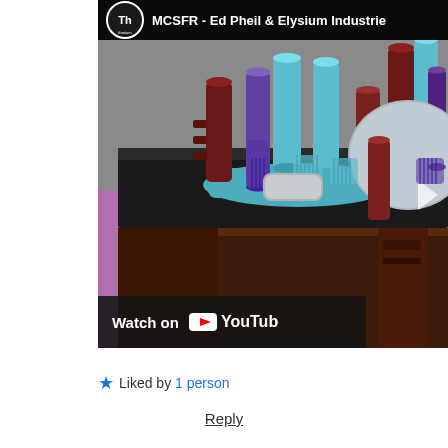[Figure (screenshot): YouTube video thumbnail showing a 3D CAD render of a Molten Chloride Salt Fast Reactor (MCSFR) by Ed Pheil and Elysium Industries. The render shows multiple colored cylindrical components (red, purple/dark blue, light blue/teal) mounted on a black platform above a dark red base, with a silver dome-like structure in the background. The video player shows a 'Watch on YouTube' bar at the bottom with the YouTube logo.]
★ Liked by 1 person
Reply